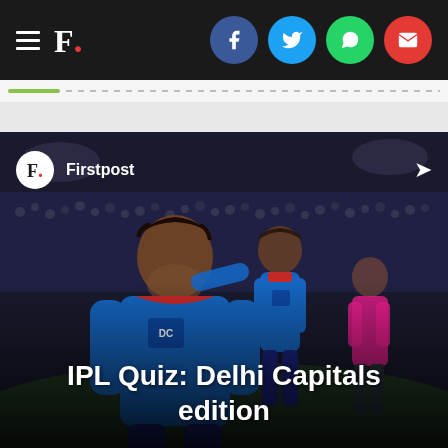F. Firstpost — navigation bar with hamburger menu and social icons (Facebook, Twitter, WhatsApp, Email)
[Figure (photo): Photograph of a Delhi Capitals IPL cricket player in blue jersey celebrating on the field at night, with teammates and a pink-jersey opponent visible in background stadium setting]
IPL Quiz: Delhi Capitals edition